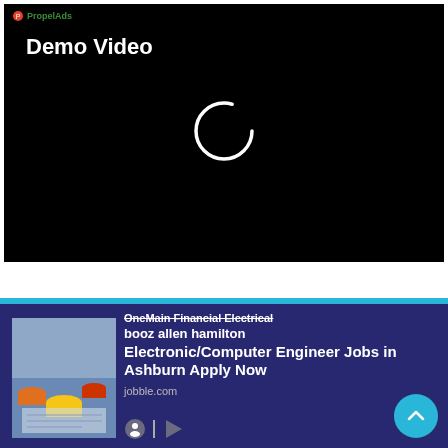[Figure (screenshot): Video player with black background showing 'Demo Video' title, PropelAds logo in top left, and a white circular loading spinner in the center]
[Figure (infographic): Advertisement section with dark navy blue background showing a job listing: 'OneMain Financial Electrical booz allen hamilton Electronic/Computer Engineer Jobs in Ashburn Apply Now' from jobble.com, with an image of engineers in hard hats examining blueprints on the left, and a cyan scroll-to-top button on the right]